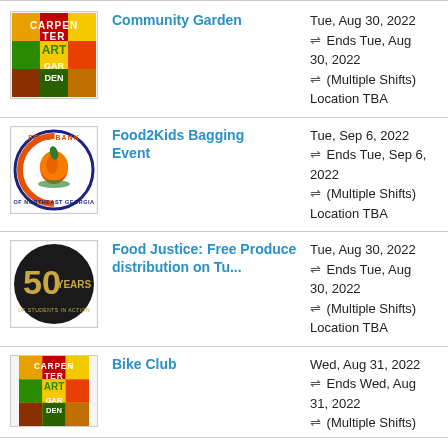[Figure (logo): Carpenter Art Garden colorful logo with text]
Community Garden
Tue, Aug 30, 2022 ⇌ Ends Tue, Aug 30, 2022 ⇌ (Multiple Shifts) Location TBA
[Figure (logo): Food Bank of Northeast Georgia circular logo]
Food2Kids Bagging Event
Tue, Sep 6, 2022 ⇌ Ends Tue, Sep 6, 2022 ⇌ (Multiple Shifts) Location TBA
[Figure (logo): 50 Years of Students in Action black circle logo with gold text]
Food Justice: Free Produce distribution on Tu...
Tue, Aug 30, 2022 ⇌ Ends Tue, Aug 30, 2022 ⇌ (Multiple Shifts) Location TBA
[Figure (logo): Carpenter Art Garden colorful logo with text (partial)]
Bike Club
Wed, Aug 31, 2022 ⇌ Ends Wed, Aug 31, 2022 ⇌ (Multiple Shifts)